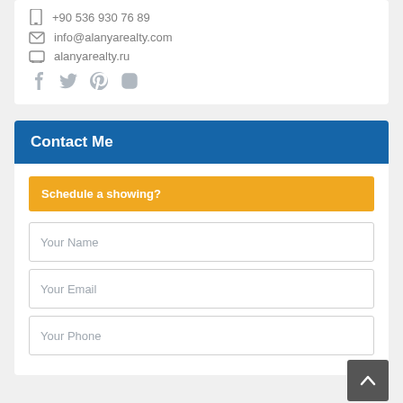+90 536 930 76 89
info@alanyarealty.com
alanyarealty.ru
[Figure (illustration): Social media icons: Facebook, Twitter, Pinterest, Instagram]
Contact Me
Schedule a showing?
Your Name
Your Email
Your Phone